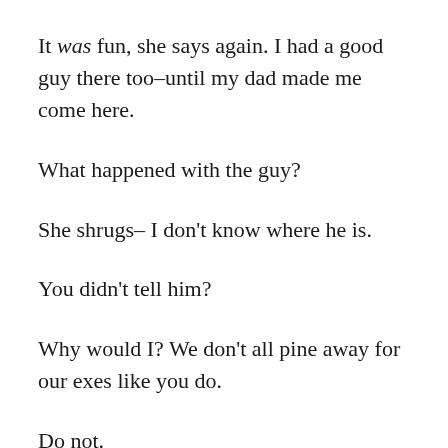It was fun, she says again. I had a good guy there too–until my dad made me come here.
What happened with the guy?
She shrugs– I don't know where he is.
You didn't tell him?
Why would I? We don't all pine away for our exes like you do.
Do not.
He laughs and so on. I am not sure what comes next.